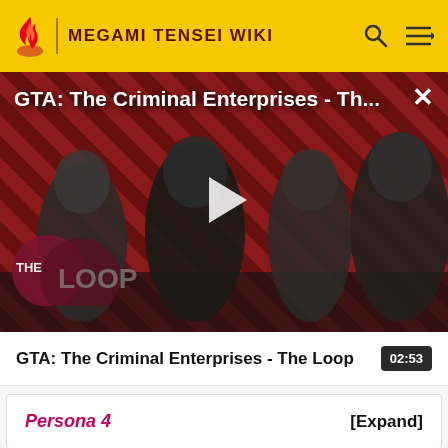MEGAMI TENSEI WIKI
[Figure (screenshot): Video thumbnail for GTA: The Criminal Enterprises - The Loop, showing game characters on a red diagonal striped background with The Loop logo overlay and a play button]
GTA: The Criminal Enterprises - Th...
GTA: The Criminal Enterprises - The Loop  02:53
Persona 4  [Expand]